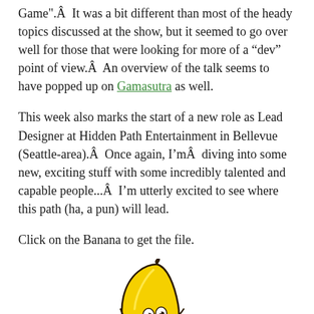Game". It was a bit different than most of the heady topics discussed at the show, but it seemed to go over well for those that were looking for more of a "dev" point of view.Â An overview of the talk seems to have popped up on Gamasutra as well.
This week also marks the start of a new role as Lead Designer at Hidden Path Entertainment in Bellevue (Seattle-area).Â Once again, I'mÂ diving into some new, exciting stuff with some incredibly talented and capable people...Â I'm utterly excited to see where this path (ha, a pun) will lead.
Click on the Banana to get the file.
[Figure (illustration): A cartoon banana character with googly eyes, a smiling face, and small stick legs, illustrated in yellow with dark outlines.]